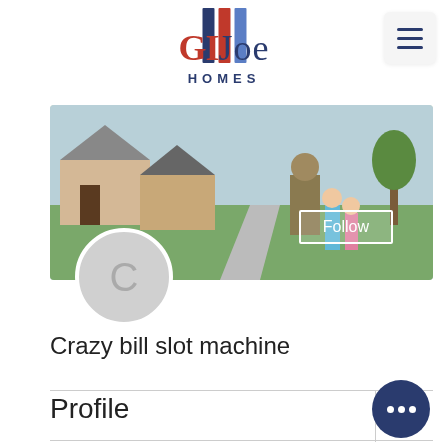[Figure (logo): GI Joe Homes logo with red, blue and light blue vertical flag stripes above the text]
[Figure (photo): Cover photo showing a neighborhood street scene with a soldier in camouflage walking with children]
Follow
[Figure (illustration): Circular avatar placeholder with the letter C]
Crazy bill slot machine
Profile